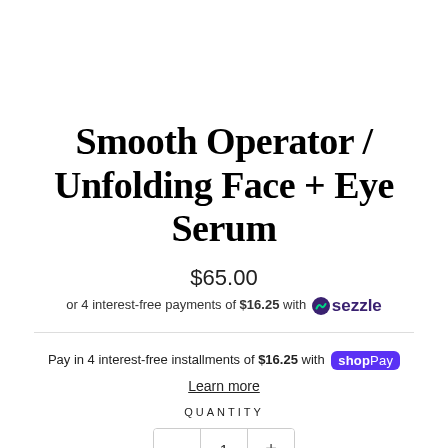Smooth Operator / Unfolding Face + Eye Serum
$65.00
or 4 interest-free payments of $16.25 with sezzle
Pay in 4 interest-free installments of $16.25 with Shop Pay
Learn more
QUANTITY